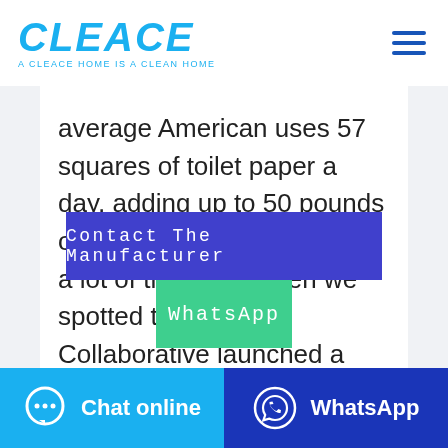CLEACE — A CLEACE HOME IS A CLEAN HOME
average American uses 57 squares of toilet paper a day, adding up to 50 pounds of the stuff each year.That's a lot of trees! So when we spotted that Grove Collaborative launched a new collection of tree-free paper products, called Seedlina. we had to give it a try.The
Contact The Manufacturer
WhatsApp
Chat online
WhatsApp